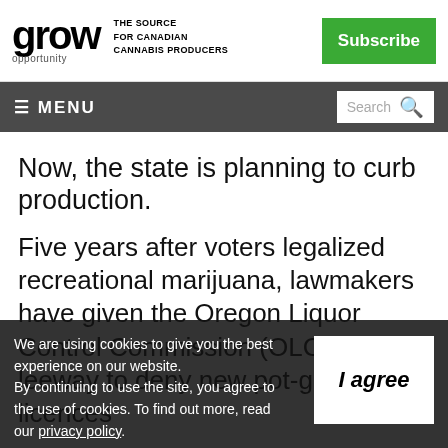grow opportunity – THE SOURCE FOR CANADIAN CANNABIS PRODUCERS
≡ MENU | Search
Now, the state is planning to curb production.
Five years after voters legalized recreational marijuana, lawmakers have given the Oregon Liquor Control Commission (OLCC) more leeway to deny new pot-growing licences
We are using cookies to give you the best experience on our website. By continuing to use the site, you agree to the use of cookies. To find out more, read our privacy policy.